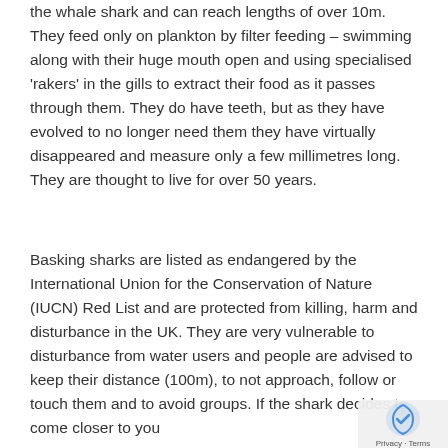the whale shark and can reach lengths of over 10m. They feed only on plankton by filter feeding – swimming along with their huge mouth open and using specialised 'rakers' in the gills to extract their food as it passes through them. They do have teeth, but as they have evolved to no longer need them they have virtually disappeared and measure only a few millimetres long. They are thought to live for over 50 years.
Basking sharks are listed as endangered by the International Union for the Conservation of Nature (IUCN) Red List and are protected from killing, harm and disturbance in the UK. They are very vulnerable to disturbance from water users and people are advised to keep their distance (100m), to not approach, follow or touch them and to avoid groups. If the shark decides to come closer to you